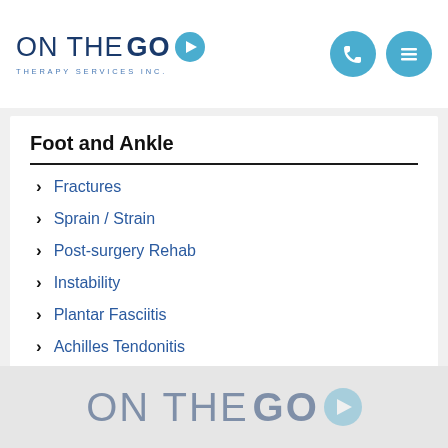ON THE GO THERAPY SERVICES INC.
Foot and Ankle
Fractures
Sprain / Strain
Post-surgery Rehab
Instability
Plantar Fasciitis
Achilles Tendonitis
ON THE GO